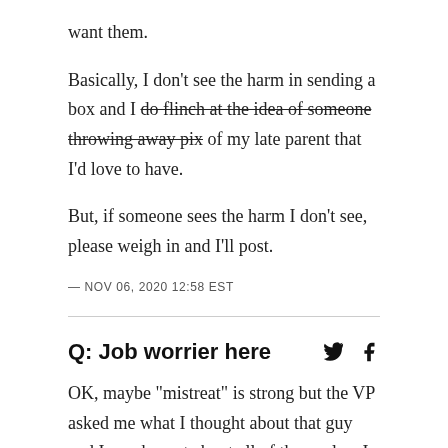want them.
Basically, I don't see the harm in sending a box and I do flinch at the idea of someone throwing away pix of my late parent that I'd love to have.
But, if someone sees the harm I don't see, please weigh in and I'll post.
— NOV 06, 2020 12:58 EST
Q: Job worrier here
OK, maybe "mistreat" is strong but the VP asked me what I thought about that guy and I was honest about all of the qualms I had and presented hard data as to